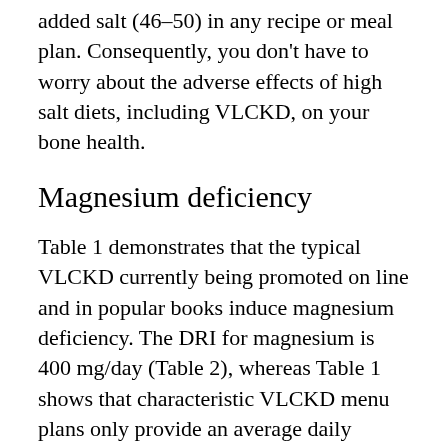added salt (46-50) in any recipe or meal plan. Consequently, you don't have to worry about the adverse effects of high salt diets, including VLCKD, on your bone health.
Magnesium deficiency
Table 1 demonstrates that the typical VLCKD currently being promoted on line and in popular books induce magnesium deficiency. The DRI for magnesium is 400 mg/day (Table 2), whereas Table 1 shows that characteristic VLCKD menu plans only provide an average daily magnesium intake of 335 mg. As was the case with potassium, the primary reason for magnesium deficiency is from the high (65% to 75% energy) fat content of VLCKD. You can see from Table 3, both animal fats and refined vegetable fats contain virtually no